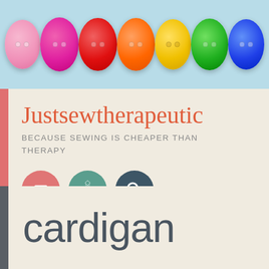[Figure (photo): Header banner with 7 colorful buttons (pink, magenta/hot pink, red, orange, yellow, green, blue) on a light blue background]
Justsewtherapeutic
BECAUSE SEWING IS CHEAPER THAN THERAPY
[Figure (infographic): Three circular icon buttons: red/salmon hamburger menu icon, teal gear/settings icon, dark gray magnifying glass/search icon]
cardigan